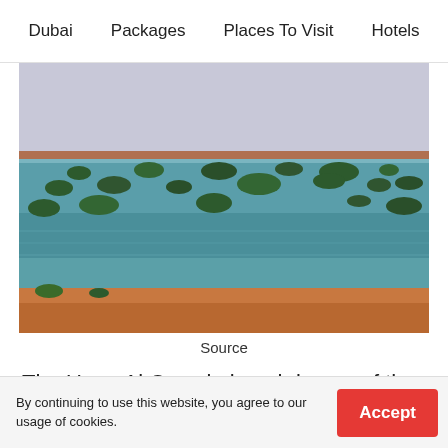Dubai   Packages   Places To Visit   Hotels
[Figure (photo): Coastal landscape of Umm Al Quwain beach showing turquoise water with small mangrove islands scattered throughout, sandy red-orange foreground dunes, and a flat horizon under a pale sky.]
Source
The Umm Al Quwain beach is one of the favourite camping spots for tourists in Dubai. The place in
By continuing to use this website, you agree to our usage of cookies.